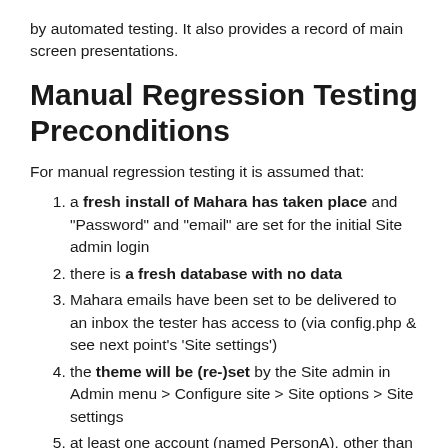by automated testing. It also provides a record of main screen presentations.
Manual Regression Testing Preconditions
For manual regression testing it is assumed that:
a fresh install of Mahara has taken place and "Password" and "email" are set for the initial Site admin login
there is a fresh database with no data
Mahara emails have been set to be delivered to an inbox the tester has access to (via config.php & see next point's 'Site settings')
the theme will be (re-)set by the Site admin in Admin menu > Configure site > Site options > Site settings
at least one account (named PersonA), other than